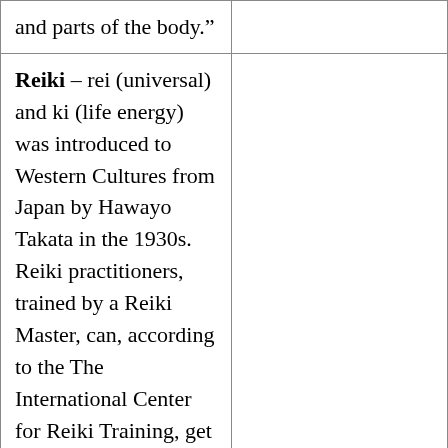| and parts of the body." |  |
| Reiki – rei (universal) and ki (life energy) was introduced to Western Cultures from Japan by Hawayo Takata in the 1930s. Reiki practitioners, trained by a Reiki Master, can, according to the The International Center for Reiki Training, get |  |